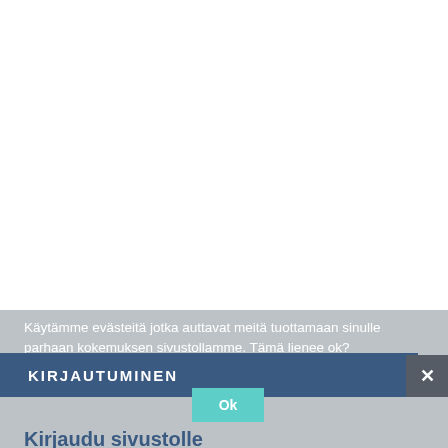[Figure (screenshot): White blank area at the top of a web page]
Käytämme evästeitä jotka auttavat meitä tuottamaan sinulle parhaan kokemuksen sivustollamme. Tämä lienee ok?
KIRJAUTUMINEN
Ok
×
Kirjaudu sivustolle